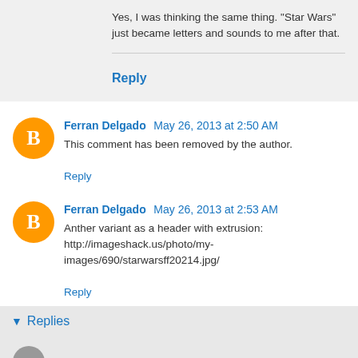Yes, I was thinking the same thing. "Star Wars" just became letters and sounds to me after that.
Reply
Ferran Delgado May 26, 2013 at 2:50 AM
This comment has been removed by the author.
Reply
Ferran Delgado May 26, 2013 at 2:53 AM
Anther variant as a header with extrusion: http://imageshack.us/photo/my-images/690/starwarsff20214.jpg/
Reply
Replies